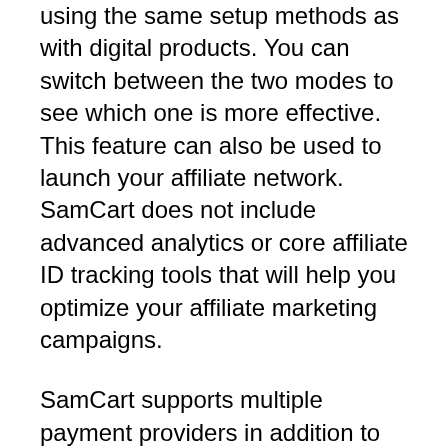using the same setup methods as with digital products. You can switch between the two modes to see which one is more effective. This feature can also be used to launch your affiliate network. SamCart does not include advanced analytics or core affiliate ID tracking tools that will help you optimize your affiliate marketing campaigns.
SamCart supports multiple payment providers in addition to collecting customer information. You can integrate PayPal, Post Affiliate Pro, ShipStation, Intercom, and Zapier to ensure your customers are paying the right price for your products. You can even opt out of the SamCart subscription plan if you aren't happy with the service. So,